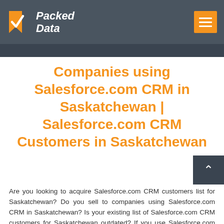Packed Data
Companies using Salesforce.com CRM in Saskatchewan | Salesforce.com CRM Customers in Saskatchewan
Are you looking to acquire Salesforce.com CRM customers list for Saskatchewan? Do you sell to companies using Salesforce.com CRM in Saskatchewan? Is your existing list of Salesforce.com CRM customers for Saskatchewan outdated? If you use Salesforce.com CRM customers list for...